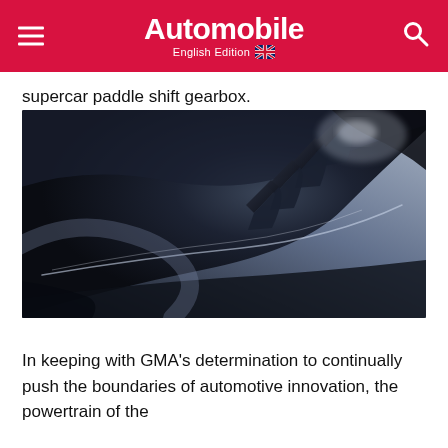Automobile — English Edition
supercar paddle shift gearbox.
[Figure (photo): Close-up dramatic dark studio shot of a supercar body panel showing aerodynamic fins and curved bodywork in dark blue/grey, with reflective highlights on the surfaces.]
In keeping with GMA's determination to continually push the boundaries of automotive innovation, the powertrain of the